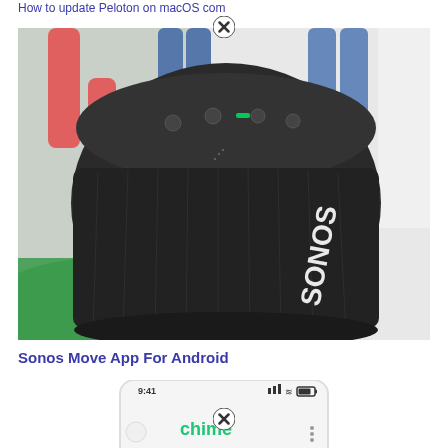How to update Peloton on macOS com
[Figure (photo): Close-up photo of a Sonos Move portable Bluetooth speaker, dark gray cylindrical body with mesh grille showing SONOS logo, viewed from above at an angle showing touch controls on top with a small green light indicator, set against a green and white background with people's legs visible in the background.]
Sonos Move App For Android
[Figure (screenshot): Partial screenshot of a mobile phone showing the Chime app interface with time 9:41 displayed at top, showing the Chime logo in green text on a white/light background.]